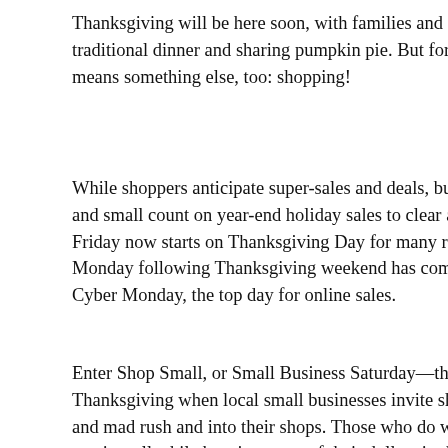Thanksgiving will be here soon, with families and friends a traditional dinner and sharing pumpkin pie. But for many p means something else, too: shopping!
While shoppers anticipate super-sales and deals, businesses and small count on year-end holiday sales to clear a profit. Friday now starts on Thanksgiving Day for many retailers. Monday following Thanksgiving weekend has come to be k Cyber Monday, the top day for online sales.
Enter Shop Small, or Small Business Saturday—the Saturda Thanksgiving when local small businesses invite shoppers and mad rush and into their shops. Those who do will find t service, all while keeping more of their dollars in the local e to get a 60" HDTV with all the bells and whistles at an unbe find great gifts without having to stay up all night. These sh know their customers as well, and they're full of ideas for g
You can find small shops by asking friends and neighbors